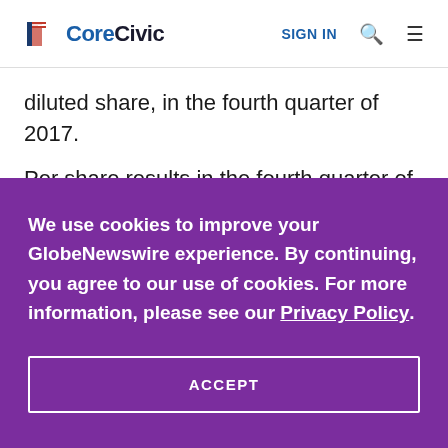CoreCivic | SIGN IN
diluted share, in the fourth quarter of 2017.
Per share results in the fourth quarter of 2018,
We use cookies to improve your GlobeNewswire experience. By continuing, you agree to our use of cookies. For more information, please see our Privacy Policy.
ACCEPT